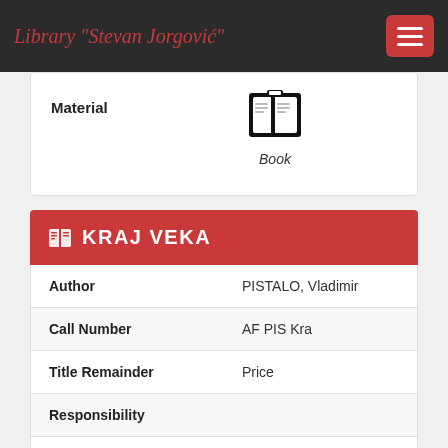Library "Stevan Jorgović"
[Figure (illustration): Book icon with italic label 'Book' below it]
Material
KRAJ VEKA
| Field | Value |
| --- | --- |
| Author | PISTALO, Vladimir |
| Call Number | AF PIS Kra |
| Title Remainder | Price |
| Responsibility |  |
| Collection | Adult Fiction |